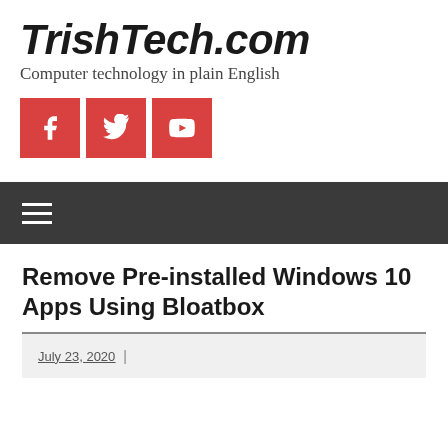TrishTech.com
Computer technology in plain English
[Figure (other): Social media icons: Facebook, Twitter, YouTube — red square buttons with white icons]
[Figure (other): Navigation bar with dark background and hamburger menu icon]
Remove Pre-installed Windows 10 Apps Using Bloatbox
July 23, 2020  |